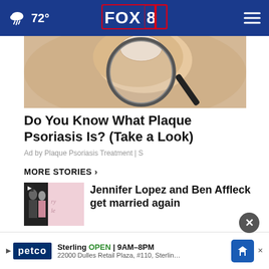FOX 8 — 72°
[Figure (photo): Close-up photo of a magnifying glass examining skin, related to plaque psoriasis article]
Do You Know What Plaque Psoriasis Is? (Take a Look)
Ad by Plaque Psoriasis Treatment | S
MORE STORIES ›
Jennifer Lopez and Ben Affleck get married again
Is your COVID-19 test expired? Here's how to check
[Figure (infographic): Ad banner for Petco Sterling store showing OPEN 9AM-8PM, 22000 Dulles Retail Plaza, #110, Sterling]